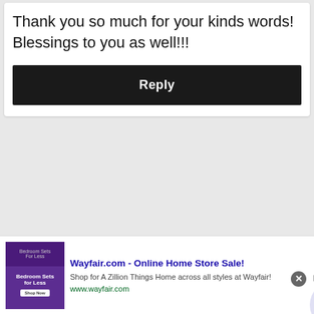Thank you so much for your kinds words! Blessings to you as well!!!
Reply
[Figure (screenshot): Wayfair.com advertisement banner with product image, ad title, description, URL, close button, and navigation arrow circle]